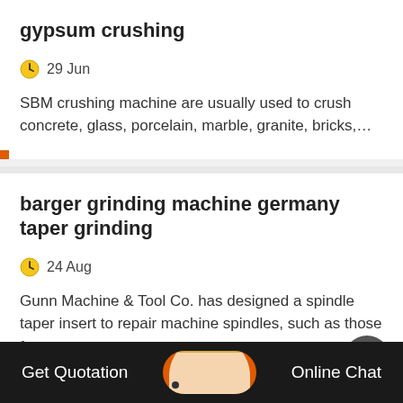gypsum crushing
29 Jun
SBM crushing machine are usually used to crush concrete, glass, porcelain, marble, granite, bricks,…
barger grinding machine germany taper grinding
24 Aug
Gunn Machine & Tool Co. has designed a spindle taper insert to repair machine spindles, such as those foun...
Get Quotation    Online Chat